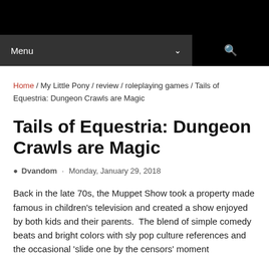Menu
Home / My Little Pony / review / roleplaying games / Tails of Equestria: Dungeon Crawls are Magic
Tails of Equestria: Dungeon Crawls are Magic
Dvandom · Monday, January 29, 2018
Back in the late 70s, the Muppet Show took a property made famous in children's television and created a show enjoyed by both kids and their parents.  The blend of simple comedy beats and bright colors with sly pop culture references and the occasional 'slide one by the censors' moment